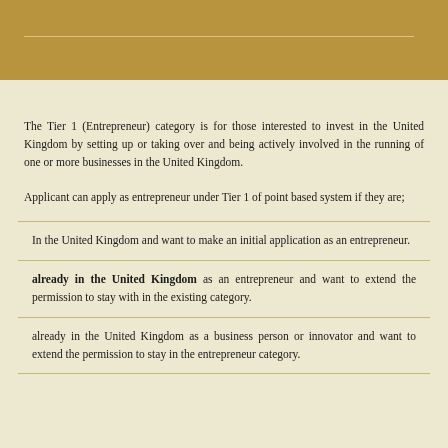The Tier 1 (Entrepreneur) category is for those interested to invest in the United Kingdom by setting up or taking over and being actively involved in the running of one or more businesses in the United Kingdom.
Applicant can apply as entrepreneur under Tier 1 of point based system if they are;
In the United Kingdom and want to make an initial application as an entrepreneur.
already in the United Kingdom as an entrepreneur and want to extend the permission to stay with in the existing category.
already in the United Kingdom as a business person or innovator and want to extend the permission to stay in the entrepreneur category.